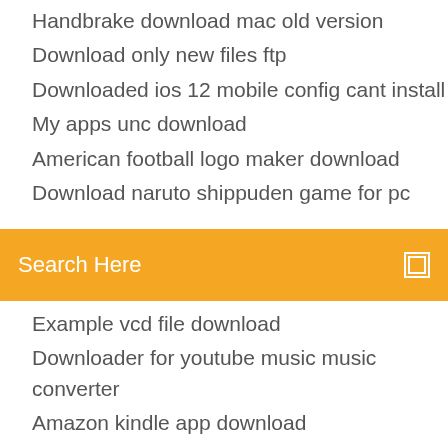Handbrake download mac old version
Download only new files ftp
Downloaded ios 12 mobile config cant install
My apps unc download
American football logo maker download
Download naruto shippuden game for pc
[Figure (screenshot): Orange search bar with text 'Search Here' and a small white square icon on the right]
Example vcd file download
Downloader for youtube music music converter
Amazon kindle app download
Get the complete list of Mukhda Vekh Ke (From 'De De Pyaar De') mp3 songs free movies, latest music videos, online radio, new TV shows and much more at